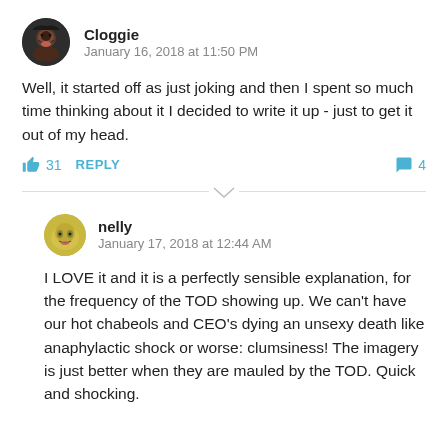[Figure (photo): Circular avatar photo of user Cloggie]
Cloggie
January 16, 2018 at 11:50 PM
Well, it started off as just joking and then I spent so much time thinking about it I decided to write it up - just to get it out of my head.
31  REPLY  4
[Figure (photo): Circular avatar photo of user nelly]
nelly
January 17, 2018 at 12:44 AM
I LOVE it and it is a perfectly sensible explanation, for the frequency of the TOD showing up. We can't have our hot chabeols and CEO's dying an unsexy death like anaphylactic shock or worse: clumsiness! The imagery is just better when they are mauled by the TOD. Quick and shocking.